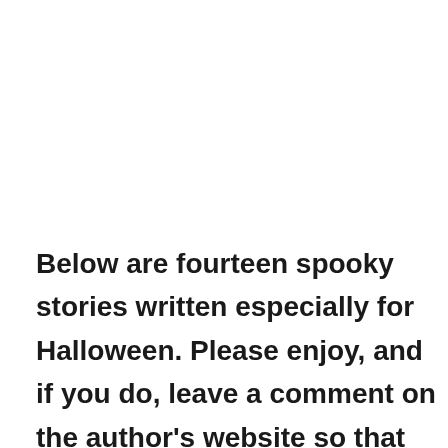Below are fourteen spooky stories written especially for Halloween. Please enjoy, and if you do, leave a comment on the author's website so that they know you dropped by.